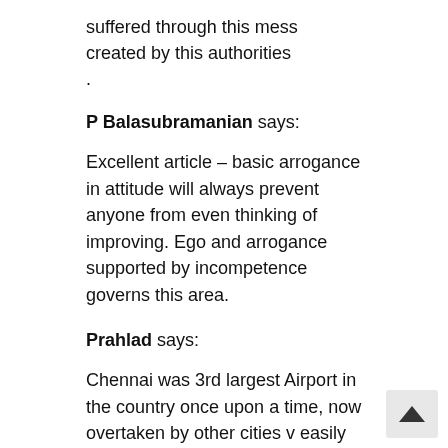suffered through this mess created by this authorities .
P Balasubramanian says:
Excellent article – basic arrogance in attitude will always prevent anyone from even thinking of improving. Ego and arrogance supported by incompetence governs this area.
Prahlad says:
Chennai was 3rd largest Airport in the country once upon a time, now overtaken by other cities v easily stands somewhere 7th. And in the list of worst Airport in the world. Unless they don't do privatization we have to be prepared for more worse.